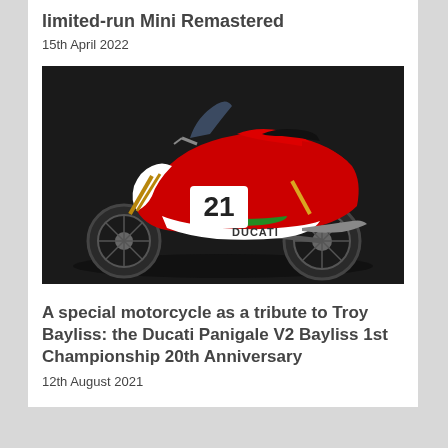limited-run Mini Remastered
15th April 2022
[Figure (photo): Red Ducati Panigale V2 Bayliss motorcycle with number 21 on dark background]
A special motorcycle as a tribute to Troy Bayliss: the Ducati Panigale V2 Bayliss 1st Championship 20th Anniversary
12th August 2021